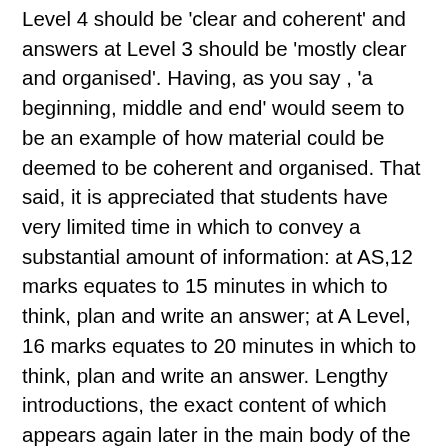Level 4 should be 'clear and coherent' and answers at Level 3 should be 'mostly clear and organised'. Having, as you say , 'a beginning, middle and end' would seem to be an example of how material could be deemed to be coherent and organised. That said, it is appreciated that students have very limited time in which to convey a substantial amount of information: at AS,12 marks equates to 15 minutes in which to think, plan and write an answer; at A Level, 16 marks equates to 20 minutes in which to think, plan and write an answer. Lengthy introductions, the exact content of which appears again later in the main body of the answer, and lengthy conclusions, which do nothing more than reiterate material that has already been presented in the main body of the answer, tend to result in answers which appear repetitive. In such cases, time might have been better spent on demonstrating knowledge of additional psychological material or making a new, previously unstated point. Taking a pragmatic approach, given the limited examination time, students who wish to